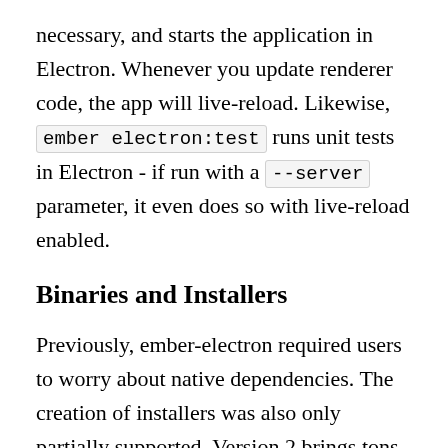necessary, and starts the application in Electron. Whenever you update renderer code, the app will live-reload. Likewise, ember electron:test runs unit tests in Electron - if run with a --server parameter, it even does so with live-reload enabled.
Binaries and Installers
Previously, ember-electron required users to worry about native dependencies. The creation of installers was also only partially supported. Version 2 brings tons of changes: ember electron:package creates fitting binaries for Windows, macOS, and Linux